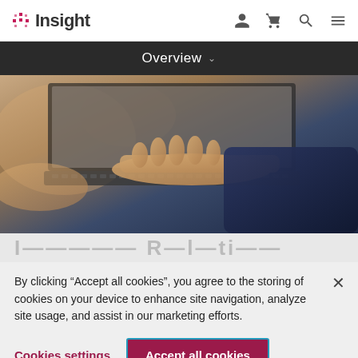Insight
Overview
[Figure (photo): Person typing on a laptop keyboard, close-up view showing hands on keyboard with blurred office background]
I_______ R_l_ti___
By clicking “Accept all cookies”, you agree to the storing of cookies on your device to enhance site navigation, analyze site usage, and assist in our marketing efforts.
Cookies settings
Accept all cookies